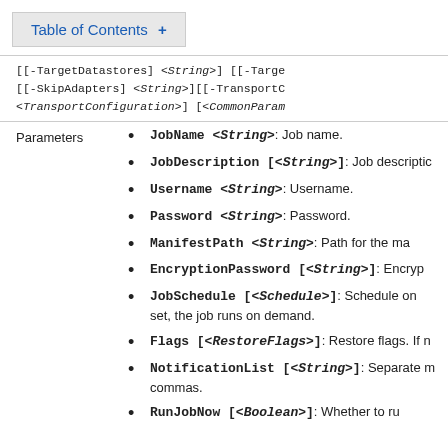Table of Contents +
[[-TargetDatastores] <String>] [[-Targe [[-SkipAdapters] <String>][[-TransportC <TransportConfiguration>] [<CommonParam
JobName <String>: Job name.
JobDescription [<String>]: Job descriptio
Username <String>: Username.
Password <String>: Password.
ManifestPath <String>: Path for the ma
EncryptionPassword [<String>]: Encryp
JobSchedule [<Schedule>]: Schedule on set, the job runs on demand.
Flags [<RestoreFlags>]: Restore flags. If n
NotificationList [<String>]: Separate m commas.
RunJobNow [<Boolean>]: Whether to run